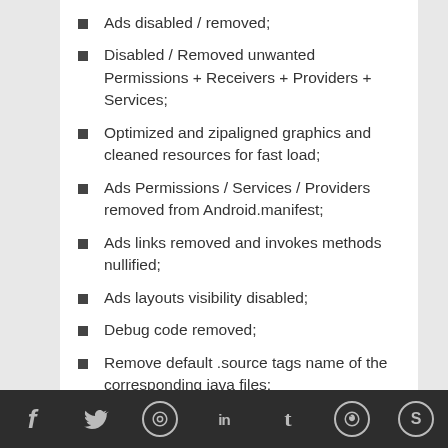Ads disabled / removed;
Disabled / Removed unwanted Permissions + Receivers + Providers + Services;
Optimized and zipaligned graphics and cleaned resources for fast load;
Ads Permissions / Services / Providers removed from Android.manifest;
Ads links removed and invokes methods nullified;
Ads layouts visibility disabled;
Debug code removed;
Remove default .source tags name of the corresponding java files;
Analytics / Crashlytics disabled;
No active trackers or advertisements;
f  ✓  ⊕  in  t  ⊙  S